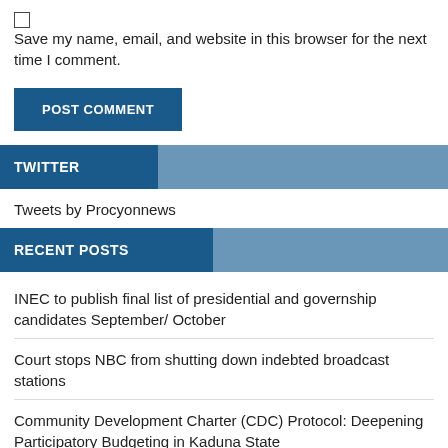Save my name, email, and website in this browser for the next time I comment.
POST COMMENT
TWITTER
Tweets by Procyonnews
RECENT POSTS
INEC to publish final list of presidential and governship candidates September/ October
Court stops NBC from shutting down indebted broadcast stations
Community Development Charter (CDC) Protocol: Deepening Participatory Budgeting in Kaduna State